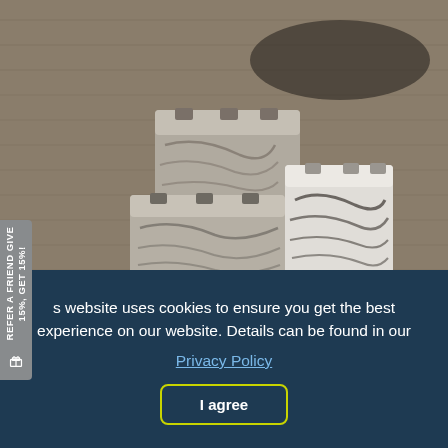[Figure (photo): Three bars of handmade artisan soap with swirled grey and cream patterns, stacked on a rustic wooden surface with an object in the background.]
s website uses cookies to ensure you get the best experience on our website. Details can be found in our
Privacy Policy
I agree
REFER A FRIEND
GIVE 15%, GET 15%!